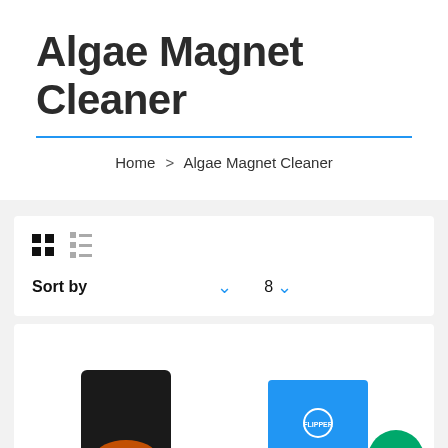Algae Magnet Cleaner
Home > Algae Magnet Cleaner
[Figure (screenshot): E-commerce product listing page UI with grid/list view toggle, sort by dropdown, count selector showing 8, and product thumbnails including a black magnet cleaner and a Flipper branded product]
[Figure (other): Green chat bubble button in bottom right corner]